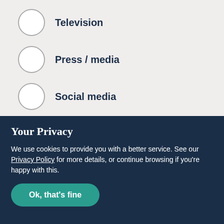Television
Press / media
Social media
Recommended by someone
Your Privacy
We use cookies to provide you with a better service. See our Privacy Policy for more details, or continue browsing if you're happy with this.
Ok, that's fine